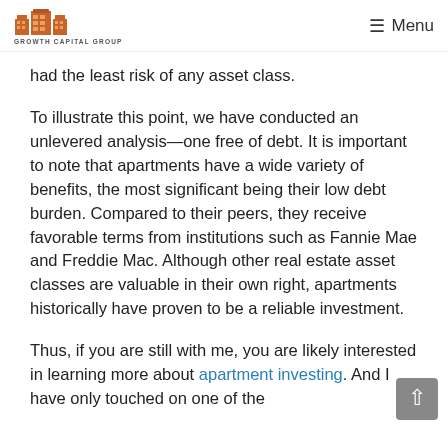Growth Capital Group | Menu
had the least risk of any asset class.
To illustrate this point, we have conducted an unlevered analysis—one free of debt. It is important to note that apartments have a wide variety of benefits, the most significant being their low debt burden. Compared to their peers, they receive favorable terms from institutions such as Fannie Mae and Freddie Mac. Although other real estate asset classes are valuable in their own right, apartments historically have proven to be a reliable investment.
Thus, if you are still with me, you are likely interested in learning more about apartment investing. And I have only touched on one of the